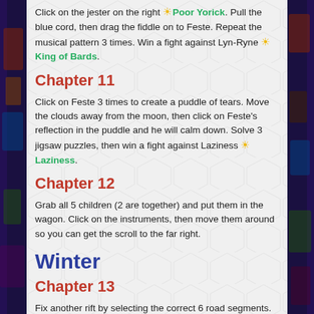Click on the jester on the right 🌟 Poor Yorick. Pull the blue cord, then drag the fiddle on to Feste. Repeat the musical pattern 3 times. Win a fight against Lyn-Ryne 🌟 King of Bards.
Chapter 11
Click on Feste 3 times to create a puddle of tears. Move the clouds away from the moon, then click on Feste's reflection in the puddle and he will calm down. Solve 3 jigsaw puzzles, then win a fight against Laziness 🌟 Laziness.
Chapter 12
Grab all 5 children (2 are together) and put them in the wagon. Click on the instruments, then move them around so you can get the scroll to the far right.
Winter
Chapter 13
Fix another rift by selecting the correct 6 road segments. Now